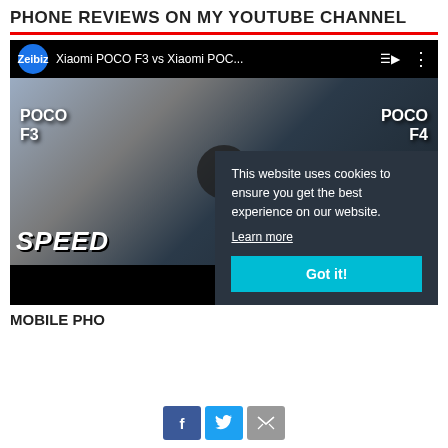PHONE REVIEWS ON MY YOUTUBE CHANNEL
[Figure (screenshot): YouTube video thumbnail screenshot showing Xiaomi POCO F3 vs Xiaomi POC... with two smartphones held side by side. Left phone is white (POCO F3), right phone is dark blue (POCO F4). Video has a play button overlay. Channel name 'Zeibiz' shown in top bar. 'SPEED' text visible at bottom left. A cookie consent overlay is shown on the right portion reading 'This website uses cookies to ensure you get the best experience on our website. Learn more' with a 'Got it!' button.]
MOBILE PH...
This website uses cookies to ensure you get the best experience on our website.
Learn more
Got it!